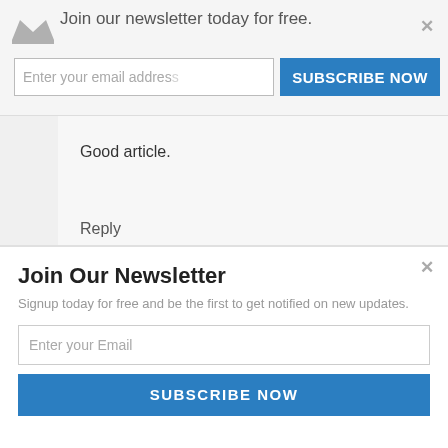Join our newsletter today for free.
Enter your email address
SUBSCRIBE NOW
Good article.
Reply
[Figure (photo): User avatar placeholder icon (grey silhouette)]
Box Office India says
April 13, 2012 at 1:13 pm
Join Our Newsletter
Signup today for free and be the first to get notified on new updates.
Enter your Email
SUBSCRIBE NOW